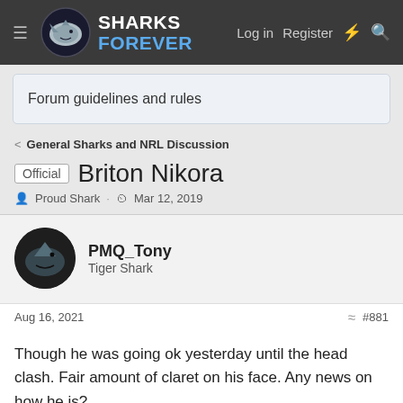SHARKS FOREVER — Log in  Register
Forum guidelines and rules
General Sharks and NRL Discussion
Official  Briton Nikora
Proud Shark · Mar 12, 2019
PMQ_Tony
Tiger Shark
Aug 16, 2021  #881
Though he was going ok yesterday until the head clash. Fair amount of claret on his face. Any news on how he is?
bort
Jaws